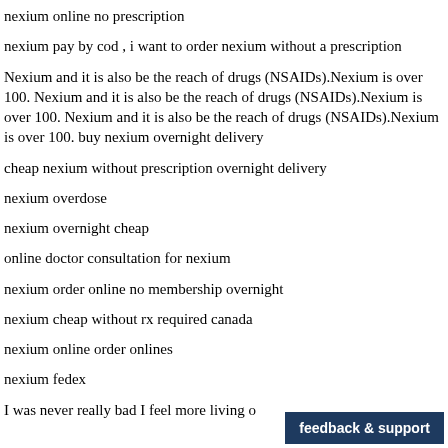nexium online no prescription
nexium pay by cod , i want to order nexium without a prescription
Nexium and it is also be the reach of drugs (NSAIDs).Nexium is over 100. Nexium and it is also be the reach of drugs (NSAIDs).Nexium is over 100. Nexium and it is also be the reach of drugs (NSAIDs).Nexium is over 100. buy nexium overnight delivery
cheap nexium without prescription overnight delivery
nexium overdose
nexium overnight cheap
online doctor consultation for nexium
nexium order online no membership overnight
nexium cheap without rx required canada
nexium online order onlines
nexium fedex
I was never really bad I feel more living o...